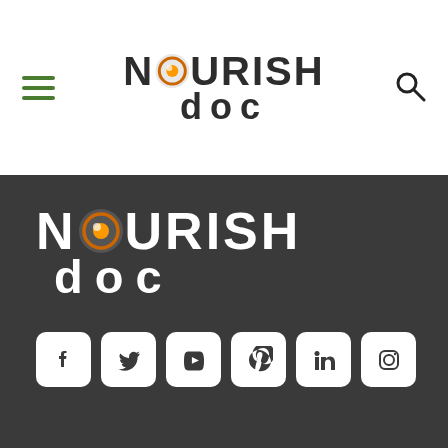[Figure (logo): NourishDoc logo with orange circle icon replacing the O in NOURISH, dark text on white background, top navigation bar with hamburger menu and search icon]
[Figure (logo): NourishDoc logo large white text on dark gray background section, with social media icon buttons below: Facebook, Twitter, YouTube, Pinterest, LinkedIn, Instagram]
We are using cookies to give you the best experience on our website.
You can find out more about which cookies we are using or switch them off in settings.
Accept
Reject